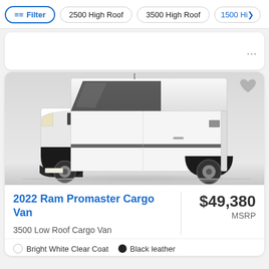Filter | 2500 High Roof | 3500 High Roof | 1500 Hi>
[Figure (photo): White RAM Promaster high-roof cargo van, front three-quarter view, on white background]
2022 Ram Promaster Cargo Van
$49,380 MSRP
3500 Low Roof Cargo Van
Bright White Clear Coat  •  Black leather